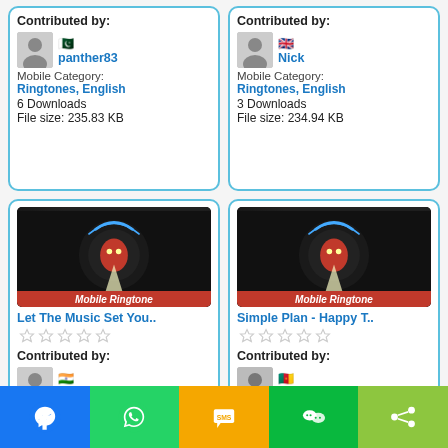Contributed by:
panther83
Mobile Category: Ringtones, English
6 Downloads
File size: 235.83 KB
Contributed by:
Nick
Mobile Category: Ringtones, English
3 Downloads
File size: 234.94 KB
[Figure (illustration): Mobile Ringtone app thumbnail - Let The Music Set You..]
Let The Music Set You..
Contributed by: djdoll
Mobile Category: Ringtones, English
5 Downloads
File size: 234.94 KB
[Figure (illustration): Mobile Ringtone app thumbnail - Simple Plan - Happy T..]
Simple Plan - Happy T..
Contributed by: frndlygirl
Mobile Category: Ringtones, English
12 Downloads
File size: 362.98 KB